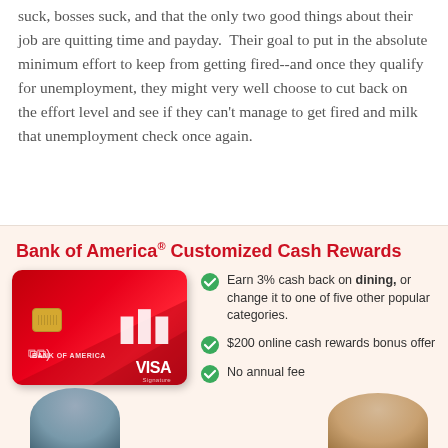suck, bosses suck, and that the only two good things about their job are quitting time and payday.  Their goal to put in the absolute minimum effort to keep from getting fired--and once they qualify for unemployment, they might very well choose to cut back on the effort level and see if they can't manage to get fired and milk that unemployment check once again.
[Figure (infographic): Bank of America Customized Cash Rewards credit card advertisement showing the card image and three bullet points: Earn 3% cash back on dining or change it to one of five other popular categories; $200 online cash rewards bonus offer; No annual fee. Two people visible at bottom of ad.]